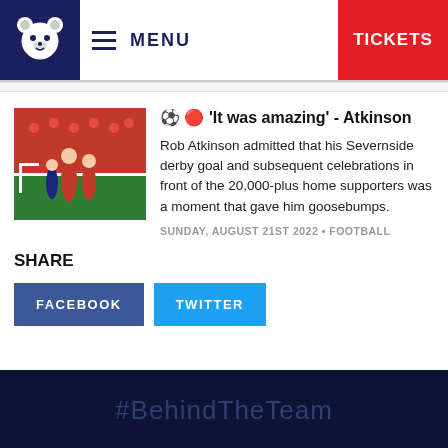MENU | TICKETS
⚽ 🟠 'It was amazing' - Atkinson
Rob Atkinson admitted that his Severnside derby goal and subsequent celebrations in front of the 20,000-plus home supporters was a moment that gave him goosebumps.
SUNDAY, AUGUST 21ST 2022 • FOOTBALL
SHARE
FACEBOOK
TWITTER
#BehindTheTeam
[Figure (logo): Sponsor logos at the bottom of the page]